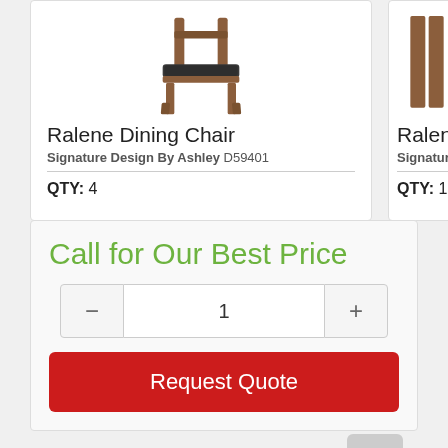[Figure (photo): Ralene Dining Chair product photo showing a wood framed dining chair with dark upholstered seat]
Ralene Dining Chair
Signature Design By Ashley D59401
QTY: 4
[Figure (photo): Partial view of another Ralene product (table or bench legs visible)]
Ralene
Signature
QTY: 1
Call for Our Best Price
1
Request Quote
Share This Item